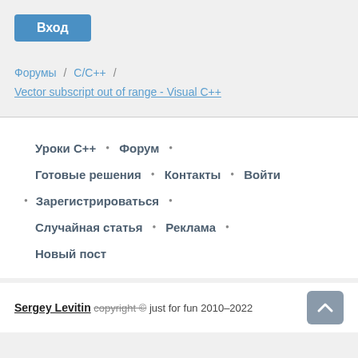Вход
Форумы / C/C++ / Vector subscript out of range - Visual C++
Уроки С++ • Форум •
Готовые решения • Контакты • Войти
• Зарегистрироваться •
Случайная статья • Реклама •
Новый пост
Sergey Levitin copyright © just for fun 2010–2022